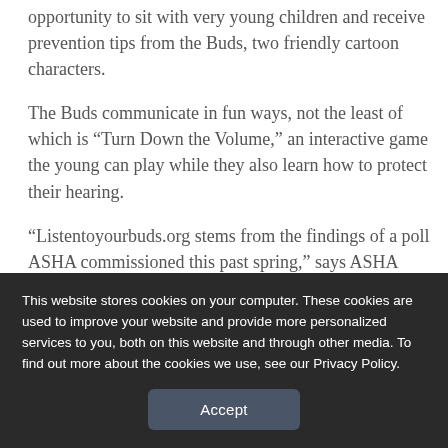opportunity to sit with very young children and receive prevention tips from the Buds, two friendly cartoon characters.
The Buds communicate in fun ways, not the least of which is “Turn Down the Volume,” an interactive game the young can play while they also learn how to protect their hearing.
“Listentoyourbuds.org stems from the findings of a poll ASHA commissioned this past spring,” says ASHA President Alex Johnson. “Parents indicated
This website stores cookies on your computer. These cookies are used to improve your website and provide more personalized services to you, both on this website and through other media. To find out more about the cookies we use, see our Privacy Policy.
Accept